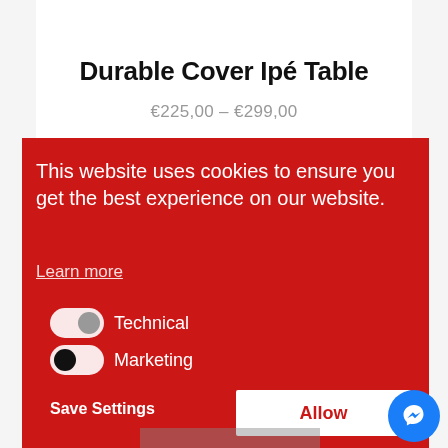Durable Cover Ipé Table
€225,00 – €299,00
This website uses cookies to ensure you get the best experience on our website.
Learn more
Technical
Marketing
Save Settings
Allow